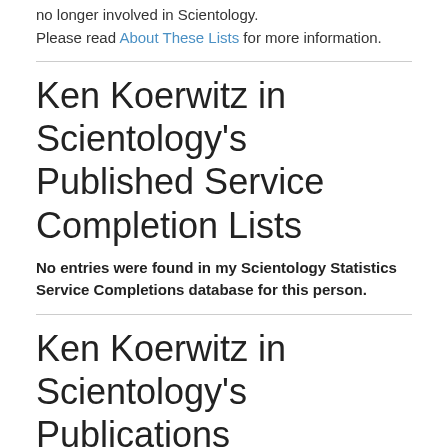no longer involved in Scientology.
Please read About These Lists for more information.
Ken Koerwitz in Scientology's Published Service Completion Lists
No entries were found in my Scientology Statistics Service Completions database for this person.
Ken Koerwitz in Scientology's Publications
The following 1 mentions of Ken Koerwitz appear in official Scientology publications:
|  |  |  |  |
| --- | --- | --- | --- |
| Ken Koerwitz | All Clears in the United States | From Clear to Eternity Newsletter 2006 | 2006-11-01 |